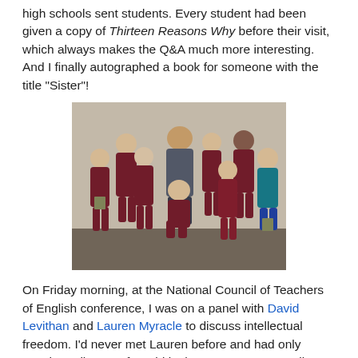high schools sent students. Every student had been given a copy of Thirteen Reasons Why before their visit, which always makes the Q&A much more interesting. And I finally autographed a book for someone with the title "Sister"!
[Figure (photo): Group photo of approximately 11 students in maroon school uniforms with an adult man in casual clothes, posing together indoors.]
On Friday morning, at the National Council of Teachers of English conference, I was on a panel with David Levithan and Lauren Myracle to discuss intellectual freedom. I'd never met Lauren before and had only caught a glimpse of David in the past, so I was really looking forward to this panel. We've all had different experiences with our books being banned or